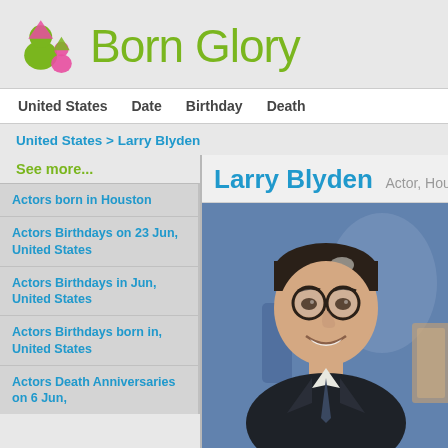Born Glory
United States   Date   Birthday   Death
United States > Larry Blyden
See more...
Actors born in Houston
Actors Birthdays on 23 Jun, United States
Actors Birthdays in Jun, United States
Actors Birthdays born in, United States
Actors Death Anniversaries on 6 Jun,
Larry Blyden
Actor, Hou
[Figure (photo): Photo of Larry Blyden, a man with dark hair and glasses, smiling, wearing a suit, with a blue studio background]